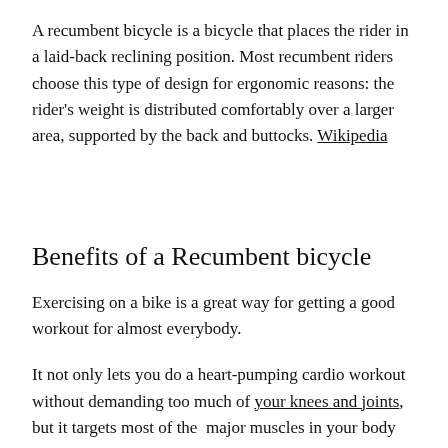A recumbent bicycle is a bicycle that places the rider in a laid-back reclining position. Most recumbent riders choose this type of design for ergonomic reasons: the rider's weight is distributed comfortably over a larger area, supported by the back and buttocks. Wikipedia
Benefits of a Recumbent bicycle
Exercising on a bike is a great way for getting a good workout for almost everybody.
It not only lets you do a heart-pumping cardio workout without demanding too much of your knees and joints, but it targets most of the  major muscles in your body